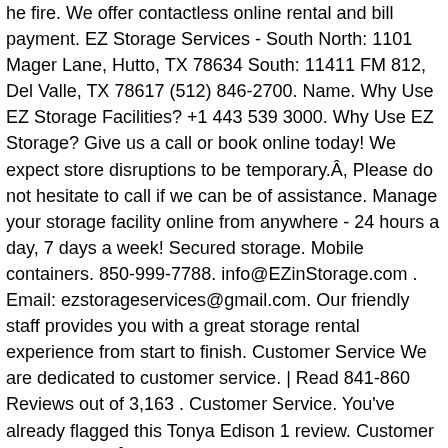he fire. We offer contactless online rental and bill payment. EZ Storage Services - South North: 1101 Mager Lane, Hutto, TX 78634 South: 11411 FM 812, Del Valle, TX 78617 (512) 846-2700. Name. Why Use EZ Storage Facilities? +1 443 539 3000. Why Use EZ Storage? Give us a call or book online today! We expect store disruptions to be temporary.Â, Please do not hesitate to call if we can be of assistance. Manage your storage facility online from anywhere - 24 hours a day, 7 days a week! Secured storage. Mobile containers. 850-999-7788. info@EZinStorage.com . Email: ezstorageservices@gmail.com. Our friendly staff provides you with a great storage rental experience from start to finish. Customer Service We are dedicated to customer service. | Read 841-860 Reviews out of 3,163 . Customer Service. You've already flagged this Tonya Edison 1 review. Customer Reviews for . Â  We have a state-of-the-art facility with the best customer service around! With six different facilities all in convenient and accessible locations, you're never far away from affordable storage units. RV storage. 32 Ez Storage jobs available on Indeed.com. ezStorage has 5 stars! Easy Storage Solutions is here to answer any questions you may have about our self storage software & is here to help make your life easier. Testimonials from recent customers of EZ Storage Overall rating: All Services (109) When you rent from us, you'll have 24-hour